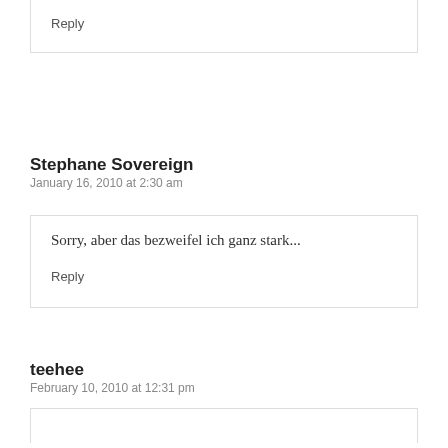Reply
Stephane Sovereign
January 16, 2010 at 2:30 am
Sorry, aber das bezweifel ich ganz stark...
Reply
teehee
February 10, 2010 at 12:31 pm